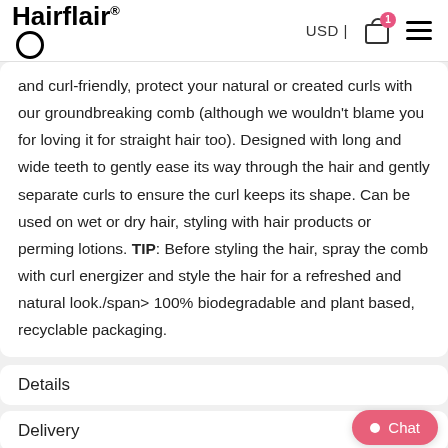Hairflair® USD | [cart icon] [menu icon]
and curl-friendly, protect your natural or created curls with our groundbreaking comb (although we wouldn't blame you for loving it for straight hair too). Designed with long and wide teeth to gently ease its way through the hair and gently separate curls to ensure the curl keeps its shape. Can be used on wet or dry hair, styling with hair products or perming lotions. TIP: Before styling the hair, spray the comb with curl energizer and style the hair for a refreshed and natural look./span> 100% biodegradable and plant based, recyclable packaging.
Details
Delivery